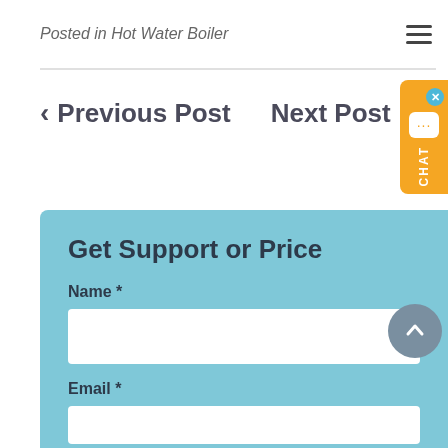Posted in Hot Water Boiler
< Previous Post
Next Post >
Get Support or Price
Name *
Email *